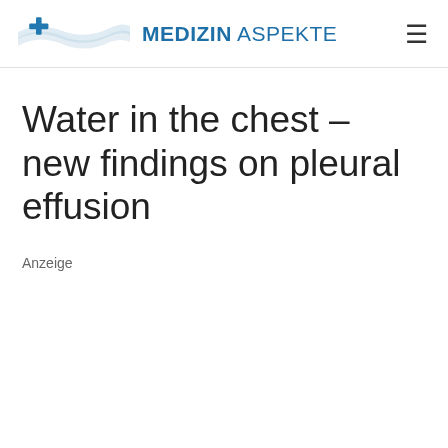MEDIZIN ASPEKTE
Water in the chest – new findings on pleural effusion
Anzeige